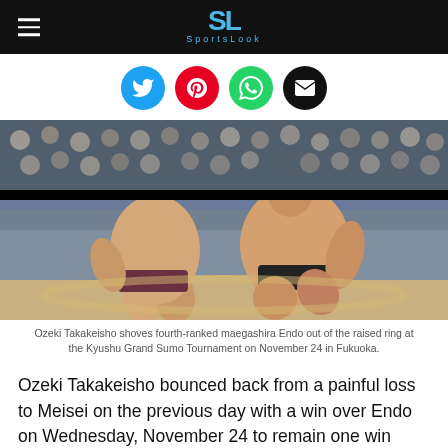SportsLook
[Figure (photo): Two sumo wrestlers competing on the raised ring (dohyo) with a large crowd of masked spectators in the background. One wrestler in black mawashi is pushing the other in maroon mawashi out of the ring.]
Ozeki Takakeisho shoves fourth-ranked maegashira Endo out of the raised ring at the Kyushu Grand Sumo Tournament on November 24 in Fukuoka.
Ozeki Takakeisho bounced back from a painful loss to Meisei on the previous day with a win over Endo on Wednesday, November 24 to remain one win behind lone yokozuna Terunofuji at the Kyushu Grand Sumo Tournament.